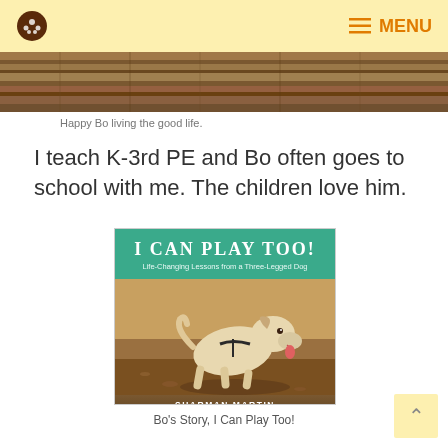MENU
[Figure (photo): A cropped photo strip showing wooden logs or bark texture with brown tones.]
Happy Bo living the good life.
I teach K-3rd PE and Bo often goes to school with me. The children love him.
[Figure (photo): Book cover for 'I CAN PLAY TOO! Life-Changing Lessons from a Three-Legged Dog' by Sharman Martin, showing a three-legged dog running.]
Bo's Story, I Can Play Too!